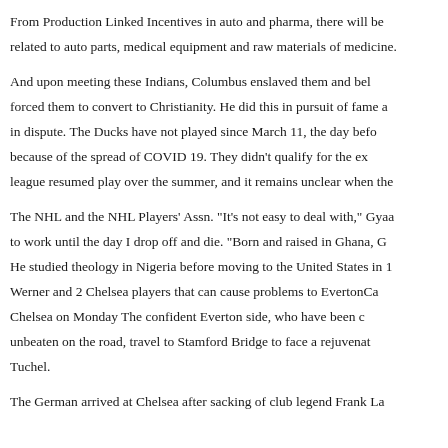From Production Linked Incentives in auto and pharma, there will be related to auto parts, medical equipment and raw materials of medicine
And upon meeting these Indians, Columbus enslaved them and bel forced them to convert to Christianity. He did this in pursuit of fame a in dispute. The Ducks have not played since March 11, the day befo because of the spread of COVID 19. They didn't qualify for the ex league resumed play over the summer, and it remains unclear when the
The NHL and the NHL Players' Assn. "It's not easy to deal with," Gyaa to work until the day I drop off and die. "Born and raised in Ghana, G He studied theology in Nigeria before moving to the United States in 1 Werner and 2 Chelsea players that can cause problems to EvertonCa Chelsea on Monday The confident Everton side, who have been c unbeaten on the road, travel to Stamford Bridge to face a rejuvenat Tuchel.
The German arrived at Chelsea after sacking of club legend Frank La